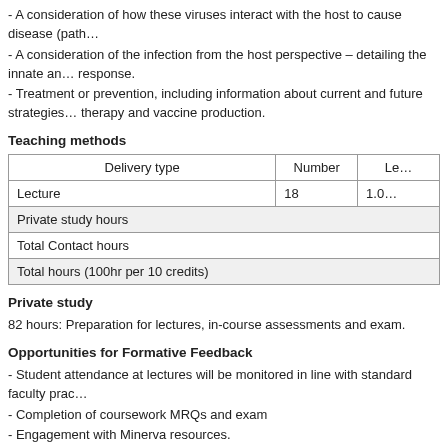- A consideration of how these viruses interact with the host to cause disease (path…
- A consideration of the infection from the host perspective – detailing the innate an… response.
- Treatment or prevention, including information about current and future strategies… therapy and vaccine production.
Teaching methods
| Delivery type | Number | Le… |
| --- | --- | --- |
| Lecture | 18 | 1.0… |
| Private study hours |  |  |
| Total Contact hours |  |  |
| Total hours (100hr per 10 credits) |  |  |
Private study
82 hours: Preparation for lectures, in-course assessments and exam.
Opportunities for Formative Feedback
- Student attendance at lectures will be monitored in line with standard faculty prac…
- Completion of coursework MRQs and exam
- Engagement with Minerva resources.
Methods of assessment